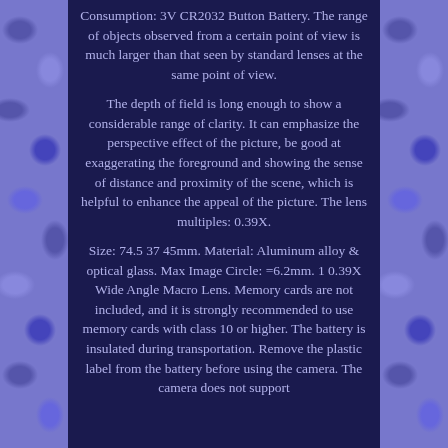Consumption: 3V CR2032 Button Battery. The range of objects observed from a certain point of view is much larger than that seen by standard lenses at the same point of view.
The depth of field is long enough to show a considerable range of clarity. It can emphasize the perspective effect of the picture, be good at exaggerating the foreground and showing the sense of distance and proximity of the scene, which is helpful to enhance the appeal of the picture. The lens multiples: 0.39X.
Size: 74.5 37 45mm. Material: Aluminum alloy & optical glass. Max Image Circle: =6.2mm. 1 0.39X Wide Angle Macro Lens. Memory cards are not included, and it is strongly recommended to use memory cards with class 10 or higher. The battery is insulated during transportation. Remove the plastic label from the battery before using the camera. The camera does not support